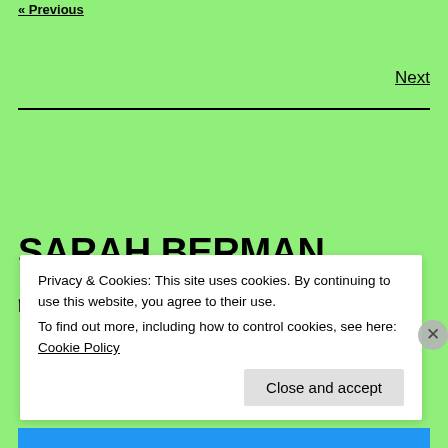« Previous
Next
SARAH BERMAN, JOURNALIST
Pitch me a story at sarah dot berms at gmail dot com
Privacy & Cookies: This site uses cookies. By continuing to use this website, you agree to their use.
To find out more, including how to control cookies, see here: Cookie Policy
Close and accept